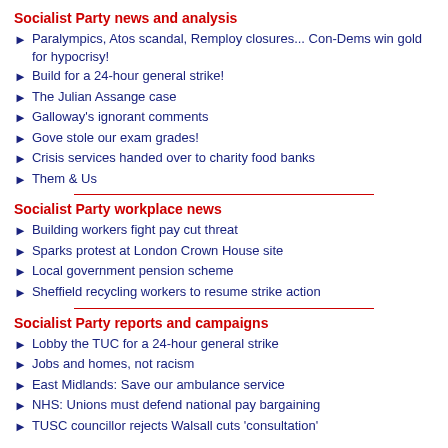Socialist Party news and analysis
Paralympics, Atos scandal, Remploy closures... Con-Dems win gold for hypocrisy!
Build for a 24-hour general strike!
The Julian Assange case
Galloway's ignorant comments
Gove stole our exam grades!
Crisis services handed over to charity food banks
Them & Us
Socialist Party workplace news
Building workers fight pay cut threat
Sparks protest at London Crown House site
Local government pension scheme
Sheffield recycling workers to resume strike action
Socialist Party reports and campaigns
Lobby the TUC for a 24-hour general strike
Jobs and homes, not racism
East Midlands: Save our ambulance service
NHS: Unions must defend national pay bargaining
TUSC councillor rejects Walsall cuts 'consultation'